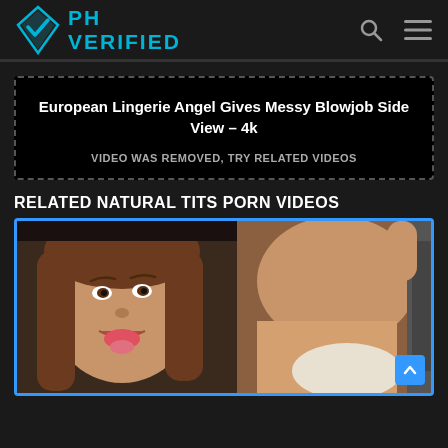PH VERIFIED
European Lingerie Angel Gives Messy Blowjob Side View – 4k
VIDEO WAS REMOVED, TRY RELATED VIDEOS
RELATED NATURAL TITS PORN VIDEOS
[Figure (photo): Thumbnail of a related video showing a young woman with brown hair and her tongue out, alongside a second person in white underwear, framed with a blue border.]